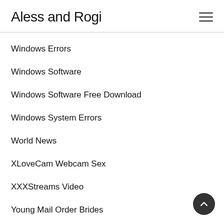Aless and Rogi
Windows Errors
Windows Software
Windows Software Free Download
Windows System Errors
World News
XLoveCam Webcam Sex
XXXStreams Video
Young Mail Order Brides